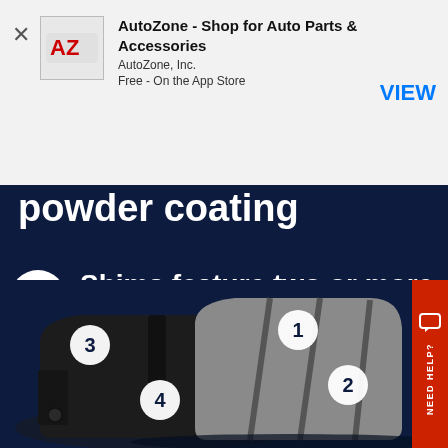[Figure (screenshot): App Store banner for AutoZone app with close button (X), AZ logo, app title 'AutoZone - Shop for Auto Parts & Accessories', publisher 'AutoZone, Inc.', 'Free - On the App Store', and a blue VIEW button.]
powder coating
4  Shims feature two or more layers for improved noise control
[Figure (photo): Brake pad assembly photo on dark navy background. Shows front and back of brake pads with numbered callout circles: 1 (top of friction material), 2 (lower right area), 3 (back plate upper left), 4 (back plate lower center).]
[Figure (other): Red 'NEED HELP?' tab on right edge with chat icon]